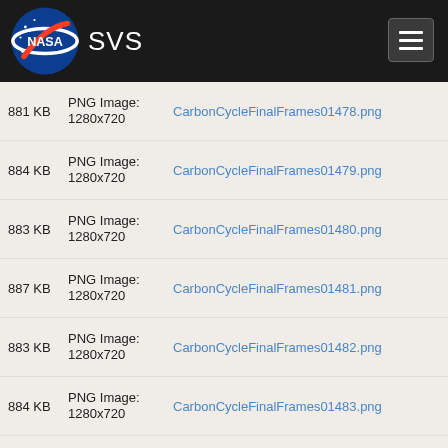NASA SVS
| Size | Type | Filename |
| --- | --- | --- |
| 881 KB | PNG Image: 1280x720 | CarbonCycleFinalFrames01478.png |
| 884 KB | PNG Image: 1280x720 | CarbonCycleFinalFrames01479.png |
| 883 KB | PNG Image: 1280x720 | CarbonCycleFinalFrames01480.png |
| 887 KB | PNG Image: 1280x720 | CarbonCycleFinalFrames01481.png |
| 883 KB | PNG Image: 1280x720 | CarbonCycleFinalFrames01482.png |
| 884 KB | PNG Image: 1280x720 | CarbonCycleFinalFrames01483.png |
| 884 KB | PNG Image: 1280x720 | CarbonCycleFinalFrames01484.png |
| 882 KB | PNG Image: 1280x720 | CarbonCycleFinalFrames01485.png |
| 884 KB | PNG Image: 1280x720 | CarbonCycleFinalFrames01486.png |
| 887 KB | PNG Image: 1280x720 | CarbonCycleFinalFrames01487.png |